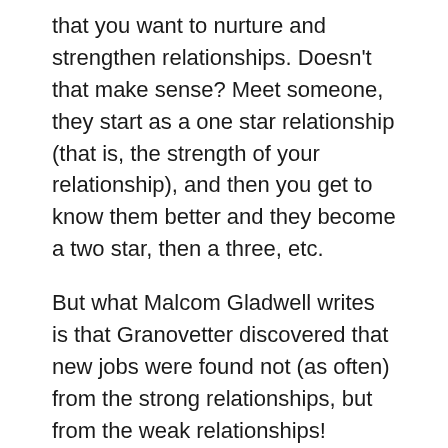that you want to nurture and strengthen relationships. Doesn't that make sense? Meet someone, they start as a one star relationship (that is, the strength of your relationship), and then you get to know them better and they become a two star, then a three, etc.
But what Malcom Gladwell writes is that Granovetter discovered that new jobs were found not (as often) from the strong relationships, but from the weak relationships!
WHY?
Let's go on… on page 54:
Why is this? Granovetter argues that it is